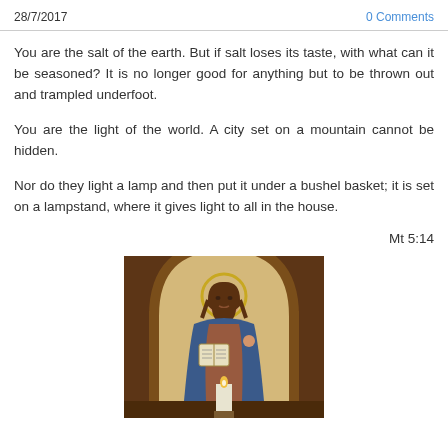28/7/2017    0 Comments
You are the salt of the earth. But if salt loses its taste, with what can it be seasoned? It is no longer good for anything but to be thrown out and trampled underfoot.
You are the light of the world. A city set on a mountain cannot be hidden.
Nor do they light a lamp and then put it under a bushel basket; it is set on a lampstand, where it gives light to all in the house.
Mt 5:14
[Figure (photo): Religious icon painting of Jesus Christ in an arched alcove, holding an open book, with a candle in the foreground]